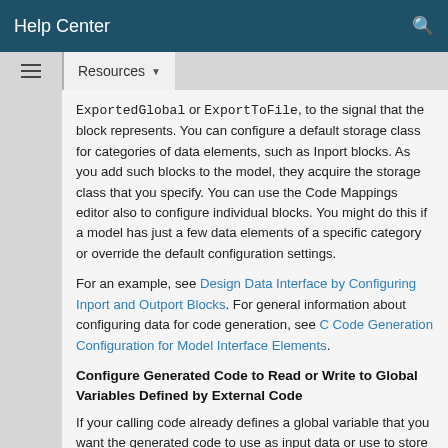Help Center
ExportedGlobal or ExportToFile, to the signal that the block represents. You can configure a default storage class for categories of data elements, such as Inport blocks. As you add such blocks to the model, they acquire the storage class that you specify. You can use the Code Mappings editor also to configure individual blocks. You might do this if a model has just a few data elements of a specific category or override the default configuration settings.
For an example, see Design Data Interface by Configuring Inport and Outport Blocks. For general information about configuring data for code generation, see C Code Generation Configuration for Model Interface Elements.
Configure Generated Code to Read or Write to Global Variables Defined by External Code
If your calling code already defines a global variable that you want the generated code to use as input data or use to store output data, you can reuse the variable by preventing the code generator from duplicating the definition. Apply a storage class to the